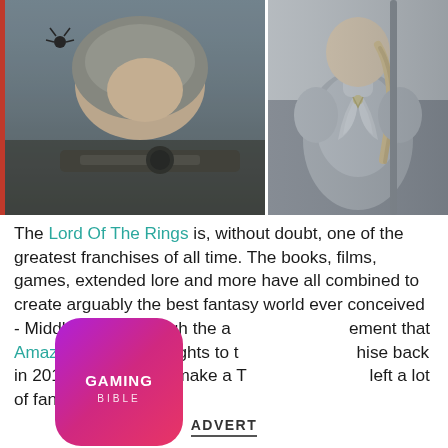[Figure (photo): Two side-by-side stills: left shows a young person in grey head covering aiming a weapon, right shows a woman in silver elvish armor holding a staff]
The Lord Of The Rings is, without doubt, one of the greatest franchises of all time. The books, films, games, extended lore and more have all combined to create arguably the best fantasy world ever conceived - Middle-earth - though the announcement that Amazon bought the rights to the franchise back in 2017 with plans to make a TV show left a lot of fans concerned.
[Figure (logo): Gaming Bible app icon logo - pink/purple gradient rounded square with GAMING BIBLE text]
ADVERT